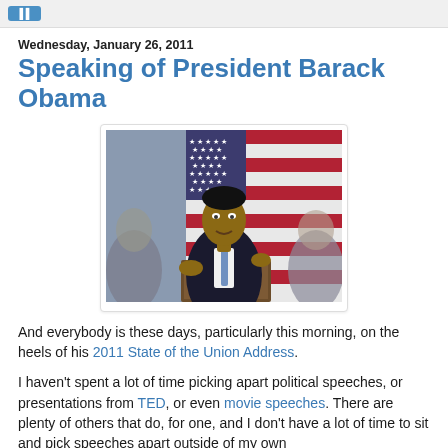Wednesday, January 26, 2011
Speaking of President Barack Obama
[Figure (photo): Photo of President Barack Obama speaking at a podium in front of an American flag, gesturing with his hands, wearing a dark suit and blue tie]
And everybody is these days, particularly this morning, on the heels of his 2011 State of the Union Address.
I haven't spent a lot of time picking apart political speeches, or presentations from TED, or even movie speeches. There are plenty of others that do, for one, and I don't have a lot of time to sit and pick speeches apart outside of my own...